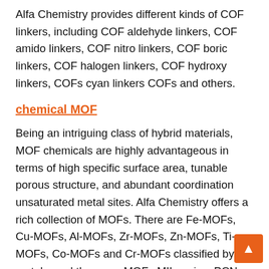Alfa Chemistry provides different kinds of COF linkers, including COF aldehyde linkers, COF amido linkers, COF nitro linkers, COF boric linkers, COF halogen linkers, COF hydroxy linkers, COFs cyan linkers COFs and others.
chemical MOF
Being an intriguing class of hybrid materials, MOF chemicals are highly advantageous in terms of high specific surface area, tunable porous structure, and abundant coordination unsaturated metal sites. Alfa Chemistry offers a rich collection of MOFs. There are Fe-MOFs, Cu-MOFs, Al-MOFs, Zr-MOFs, Zn-MOFs, Ti-MOFs, Co-MOFs and Cr-MOFs classified by metals, and there are MOFs MIL series, PCN series MOFs, CPL